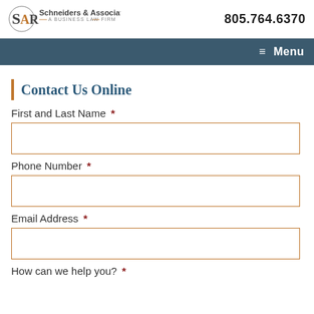Schneiders & Associates LLP — A Business Law Firm | 805.764.6370
Menu
Contact Us Online
First and Last Name *
Phone Number *
Email Address *
How can we help you? *